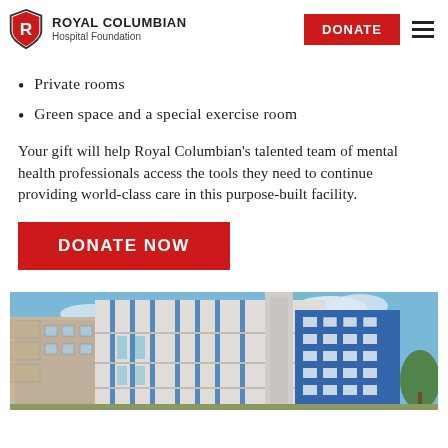ROYAL COLUMBIAN Hospital Foundation
Private rooms
Green space and a special exercise room
Your gift will help Royal Columbian’s talented team of mental health professionals access the tools they need to continue providing world-class care in this purpose-built facility.
DONATE NOW
[Figure (photo): Exterior photograph of a modern multi-storey hospital building with white and blue facade panels, balconies on left side, and blue sky background with trees visible at right edge.]